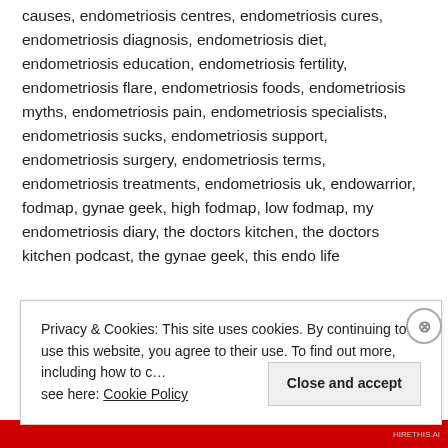causes, endometriosis centres, endometriosis cures, endometriosis diagnosis, endometriosis diet, endometriosis education, endometriosis fertility, endometriosis flare, endometriosis foods, endometriosis myths, endometriosis pain, endometriosis specialists, endometriosis sucks, endometriosis support, endometriosis surgery, endometriosis terms, endometriosis treatments, endometriosis uk, endowarrior, fodmap, gynae geek, high fodmap, low fodmap, my endometriosis diary, the doctors kitchen, the doctors kitchen podcast, the gynae geek, this endo life
Privacy & Cookies: This site uses cookies. By continuing to use this website, you agree to their use. To find out more, including how to control cookies, see here: Cookie Policy
Close and accept